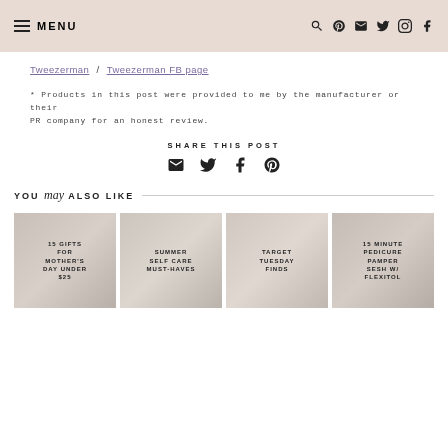MENU [hamburger icon] [search] [pinterest] [email] [twitter] [instagram] [facebook]
Tweezerman / Tweezerman FB page
* Products in this post were provided to me by the manufacturer or their PR company for an honest review.
SHARE THIS POST
[email icon] [twitter icon] [facebook icon] [pinterest icon]
YOU may ALSO LIKE
[Figure (photo): 15 GIFTS FOR MOTHER'S DAY UNDER $25 - thumbnail image]
[Figure (photo): SUMMER SELF CARE MUST-HAVES - thumbnail image]
[Figure (photo): TARGET TUESDAY FINDS - thumbnail image]
[Figure (photo): 15 MINUTE PEDICURE PAMPER SESH W/ FLEXITOL - thumbnail image]